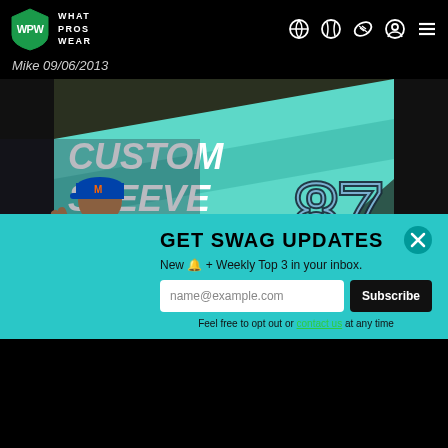WPW WHAT PROS WEAR
Mike 09/06/2013
[Figure (photo): Custom sleeve promotional image with teal/mint colored baseball sleeve fabric, showing a number 87 patch design and a promotional code 'CODE: WPW $25' offer]
[Figure (photo): New York Mets baseball player in white pinstripe uniform and blue cap, making a peace sign gesture, holding a glove]
GET SWAG UPDATES
New 🔔 + Weekly Top 3 in your inbox.
name@example.com
Subscribe
Feel free to opt out or contact us at any time